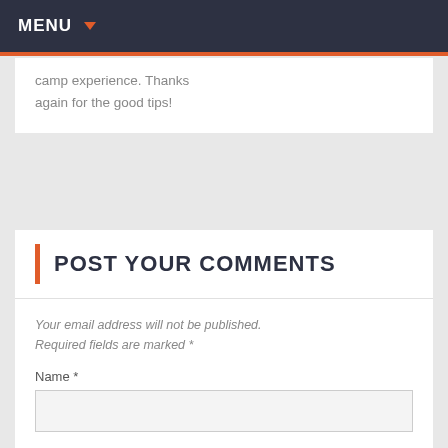MENU
camp experience. Thanks again for the good tips!
POST YOUR COMMENTS
Your email address will not be published. Required fields are marked *
Name *
Email *
Website